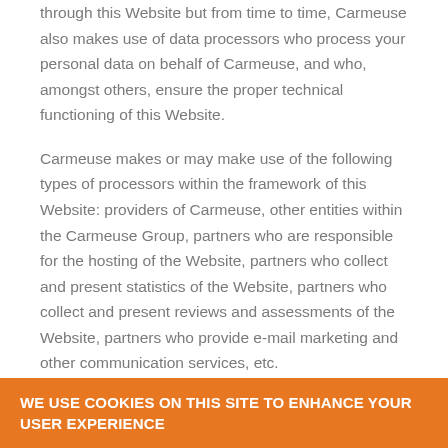through this Website but from time to time, Carmeuse also makes use of data processors who process your personal data on behalf of Carmeuse, and who, amongst others, ensure the proper technical functioning of this Website.
Carmeuse makes or may make use of the following types of processors within the framework of this Website: providers of Carmeuse, other entities within the Carmeuse Group, partners who are responsible for the hosting of the Website, partners who collect and present statistics of the Website, partners who collect and present reviews and assessments of the Website, partners who provide e-mail marketing and other communication services, etc.
2. WHY DO WE PROCESS YOUR PERSONAL DATA?
WE USE COOKIES ON THIS SITE TO ENHANCE YOUR USER EXPERIENCE